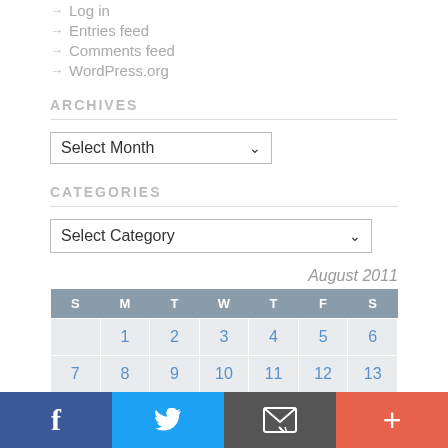Log in
Entries feed
Comments feed
WordPress.org
ARCHIVES
Select Month (dropdown)
CATEGORIES
Select Category (dropdown)
August 2011
| S | M | T | W | T | F | S |
| --- | --- | --- | --- | --- | --- | --- |
|  | 1 | 2 | 3 | 4 | 5 | 6 |
| 7 | 8 | 9 | 10 | 11 | 12 | 13 |
| 14 | 15 | 16 | 17 | 18 | 19 | 20 |